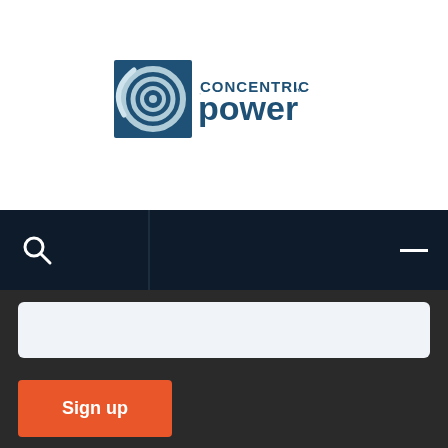[Figure (logo): Concentric Power logo with circular graphic and dark teal text reading CONCENTRIC power]
[Figure (screenshot): Dark navy navigation bar with search icon on left, vertical divider, and hamburger menu icon on right]
[Figure (screenshot): Light blue-gray input field (email sign up form)]
Sign up
Create your own free form with HubSpot